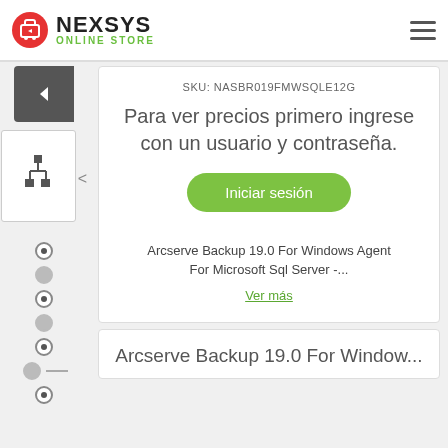NEXSYS ONLINE STORE
SKU: NASBR019FMWSQLE12G
Para ver precios primero ingrese con un usuario y contraseña.
Iniciar sesión
Arcserve Backup 19.0 For Windows Agent For Microsoft Sql Server -...
Ver más
Arcserve Backup 19.0 For Window...